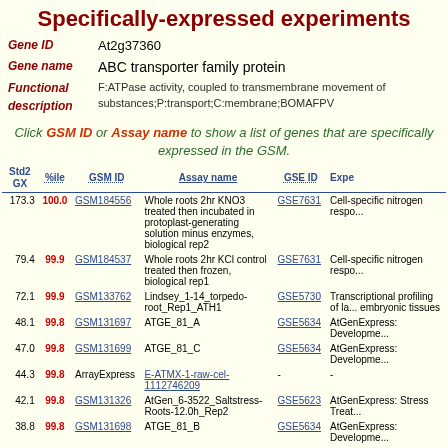Specifically-expressed experiments
Gene ID: At2g37360
Gene name: ABC transporter family protein
Functional description: F:ATPase activity, coupled to transmembrane movement of substances;P:transport;C:membrane;BOMAFPV
Click GSM ID or Assay name to show a list of genes that are specifically expressed in the GSM.
| Std2 GX | %ile | GSM ID | Assay name | GSE ID | Experiment |
| --- | --- | --- | --- | --- | --- |
| 173.3 | 100.0 | GSM184556 | Whole roots 2hr KNO3 treated then incubated in protoplast-generating solution minus enzymes, biological rep2 | GSE7631 | Cell-specific nitrogen respo... |
| 79.4 | 99.9 | GSM184537 | Whole roots 2hr KCl control treated then frozen, biological rep1 | GSE7631 | Cell-specific nitrogen respo... |
| 72.1 | 99.9 | GSM133762 | Lindsey_1-14_torpedo-root_Rep1_ATH1 | GSE5730 | Transcriptional profiling of la... embryonic tissues |
| 48.1 | 99.8 | GSM131697 | ATGE_81_A | GSE5634 | AtGenExpress: Developme... |
| 47.0 | 99.8 | GSM131699 | ATGE_81_C | GSE5634 | AtGenExpress: Developme... |
| 44.3 | 99.8 | ArrayExpress | E-ATMX-1-raw-cel-1112746209 | - | - |
| 42.1 | 99.8 | GSM131326 | AtGen_6-3522_Saltstress-Roots-12.0h_Rep2 | GSE5623 | AtGenExpress: Stress Treat... |
| 38.8 | 99.8 | GSM131698 | ATGE_81_B | GSE5634 | AtGenExpress: Developme... |
| 35.7 | 99.7 | GSM13784 | Cycloheximide - replicate | GSE911 | Identification of LEAFY targe... |
| 32.1 | 99.7 | GSM184497 | Endodermis&Pericycle root cells 2hr transitory KNO3 treated, | GSE7631 | Cell-specific nitrogen respo... |